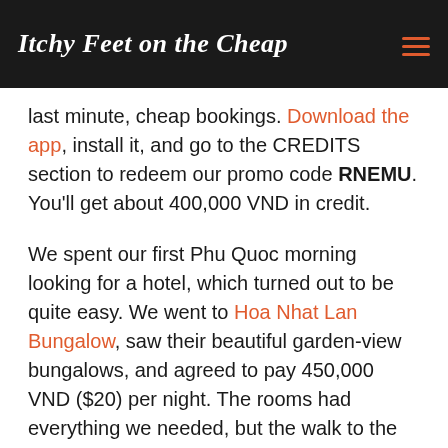Itchy Feet on the Cheap
last minute, cheap bookings. Download the app, install it, and go to the CREDITS section to redeem our promo code RNEMU. You'll get about 400,000 VND in credit.
We spent our first Phu Quoc morning looking for a hotel, which turned out to be quite easy. We went to Hoa Nhat Lan Bungalow, saw their beautiful garden-view bungalows, and agreed to pay 450,000 VND ($20) per night. The rooms had everything we needed, but the walk to the